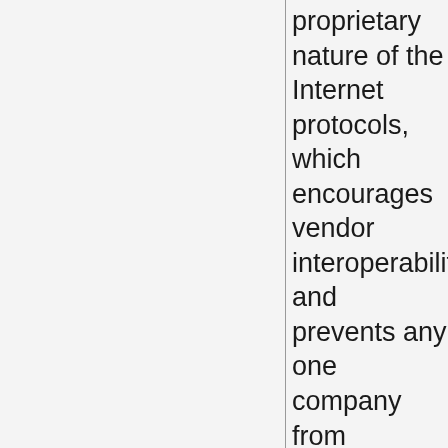proprietary nature of the Internet protocols, which encourages vendor interoperability and prevents any one company from